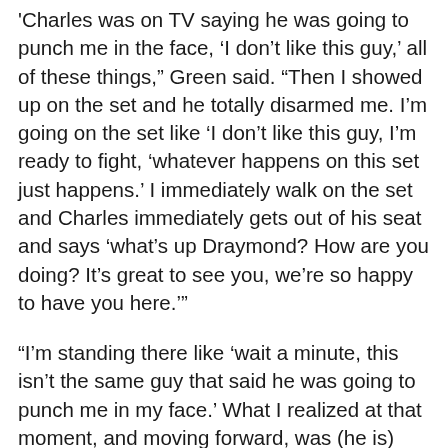'Charles was on TV saying he was going to punch me in the face, ‘I don’t like this guy,’ all of these things,” Green said. “Then I showed up on the set and he totally disarmed me. I’m going on the set like ‘I don’t like this guy, I’m ready to fight, ‘whatever happens on this set just happens.’ I immediately walk on the set and Charles immediately gets out of his seat and says ‘what’s up Draymond? How are you doing? It’s great to see you, we’re so happy to have you here.’”
“I’m standing there like ‘wait a minute, this isn’t the same guy that said he was going to punch me in my face.’ What I realized at that moment, and moving forward, was (he is) one of the nicest guys I’ve ever been around. One of the most thoughtful, incredible people, and not just to me. When you hear the stories and you see